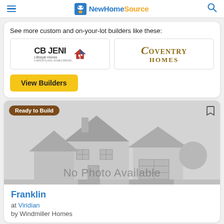NewHomeSource
See more custom and on-your-lot builders like these:
[Figure (logo): CB JENI Lifestyle Homes logo with red/blue house icon]
[Figure (logo): Coventry Homes logo in gold serif font]
View Builders
[Figure (illustration): No Photo Available placeholder with grey house illustration]
Franklin
at Viridian
by Windmiller Homes